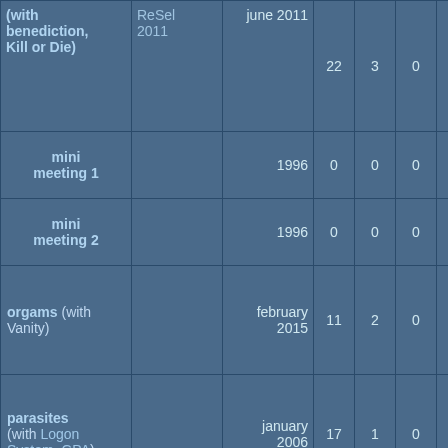| name | label | date | col4 | col5 | col6 | score | check |
| --- | --- | --- | --- | --- | --- | --- | --- |
| (with benediction, Kill or Die) | ReSel 2011 | june 2011 | 22 | 3 | 0 | 0.88 | ☐ |
| mini meeting 1 |  | 1996 | 0 | 0 | 0 | 0.00 | ☐ |
| mini meeting 2 |  | 1996 | 0 | 0 | 0 | 0.00 | ☐ |
| orgams (with Vanity) |  | february 2015 | 11 | 2 | 0 | 0.85 | ☐ |
| parasites (with Logon System, GPA) |  | january 2006 | 17 | 1 | 0 | 0.94 | ☐ |
| pas de c4 pour daniel-daniel |  | 2004 | 1 | 1 | 0 | 0.50 | ☐ |
| points barres |  | december 2015 | 24 | 3 | 0 | 0.89 | ☐ |
|  |  |  |  |  |  |  |  |